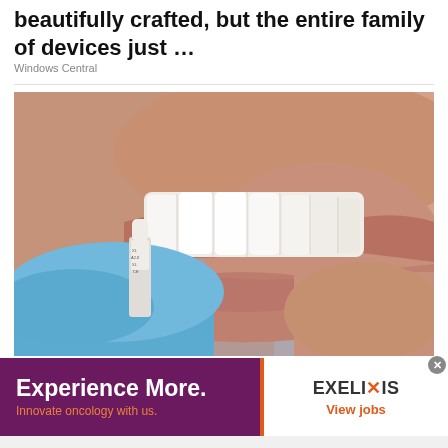beautifully crafted, but the entire family of devices just …
Windows Central
[Figure (photo): Close-up photo of a person smiling showing white teeth, with a gloved hand holding a dental veneer sample up to one of their teeth. The glove is blue and the veneer sample has labels on it.]
[Figure (infographic): Advertisement banner with dark purple background on the left side reading 'Experience More.' in bold white text, and 'Innovate oncology with us.' in orange below. An orange vertical divider separates the left from a white right panel showing 'EXELIXIS' logo with an orange X and 'View jobs' in orange text below.]